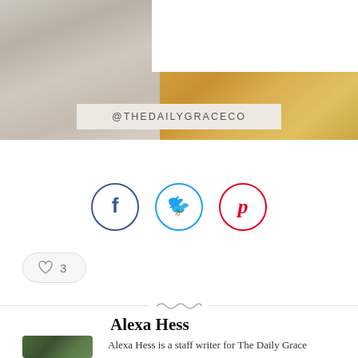[Figure (photo): Top banner with decorative floral/nature photography on left and right sides with a white rectangle overlay in the center, and a beige label bar showing @THEDAILYGRACECO]
@THEDAILYGRACECO
[Figure (infographic): Three social media icon circles: Facebook (blue border), Twitter (cyan border), Pinterest (red border)]
[Figure (infographic): Like/heart button showing a heart icon and the number 3]
[Figure (illustration): Decorative wavy ornament divider line]
Alexa Hess
[Figure (photo): Author photo - small portrait thumbnail]
Alexa Hess is a staff writer for The Daily Grace